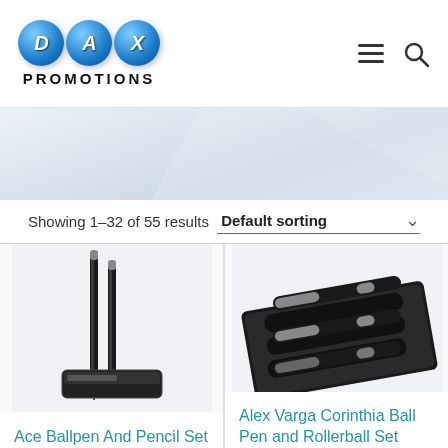[Figure (logo): DAX Promotions logo with three blue spheres labeled D, A, X and text PROMOTIONS below]
Showing 1–32 of 55 results  Default sorting
[Figure (photo): Ace Ballpen And Pencil Set product photo showing two black pens and a case]
Ace Ballpen And Pencil Set
[Figure (photo): Alex Varga Corinthia Ball Pen and Rollerball Set product photo showing pens in black box]
Alex Varga Corinthia Ball Pen and Rollerball Set